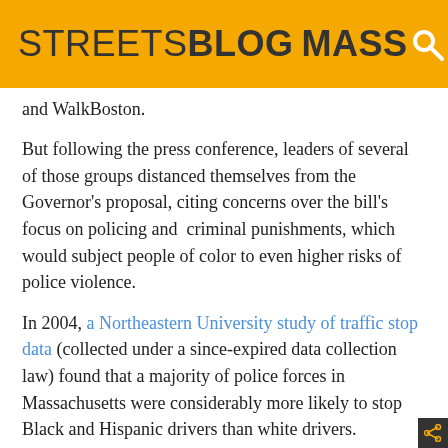STREETSBLOG MASS
and WalkBoston.
But following the press conference, leaders of several of those groups distanced themselves from the Governor's proposal, citing concerns over the bill's focus on policing and  criminal punishments, which would subject people of color to even higher risks of police violence.
In 2004, a Northeastern University study of traffic stop data (collected under a since-expired data collection law) found that a majority of police forces in Massachusetts were considerably more likely to stop Black and Hispanic drivers than white drivers.
New traffic stop data collected in association with the